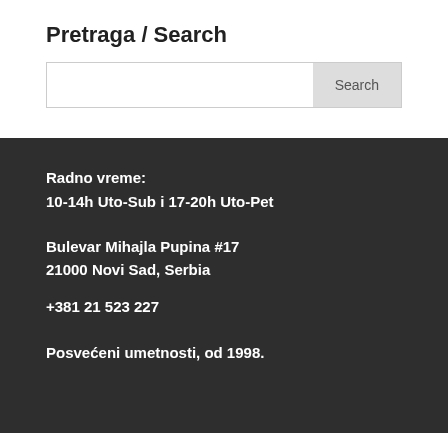Pretraga / Search
Search
Radno vreme:
10-14h Uto-Sub i 17-20h Uto-Pet
Bulevar Mihajla Pupina #17
21000 Novi Sad, Serbia
+381 21 523 227
Posvećeni umetnosti, od 1998.